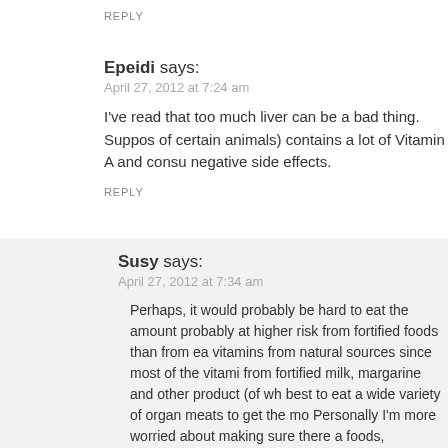REPLY
Epeidi says:
April 27, 2012 at 7:24 am
I've read that too much liver can be a bad thing. Suppos of certain animals) contains a lot of Vitamin A and consu negative side effects.
REPLY
Susy says:
April 27, 2012 at 7:34 am
Perhaps, it would probably be hard to eat the amount probably at higher risk from fortified foods than from ea vitamins from natural sources since most of the vitami from fortified milk, margarine and other product (of wh best to eat a wide variety of organ meats to get the mo Personally I'm more worried about making sure there a foods, preservatives, or other chemicals in what ends
REPLY